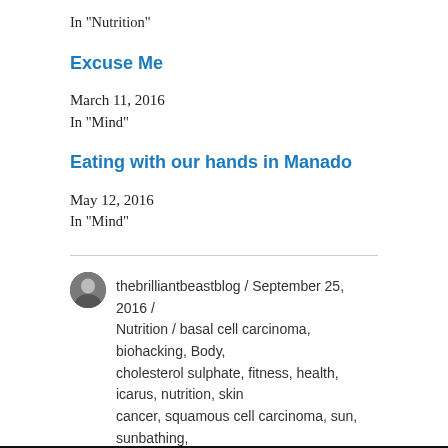In "Nutrition"
Excuse Me
March 11, 2016
In "Mind"
Eating with our hands in Manado
May 12, 2016
In "Mind"
thebrilliantbeastblog / September 25, 2016 / Nutrition / basal cell carcinoma, biohacking, Body, cholesterol sulphate, fitness, health, icarus, nutrition, skin cancer, squamous cell carcinoma, sun, sunbathing, sunlight, UV rays, UV-B, UVB, vitamin D, wellness